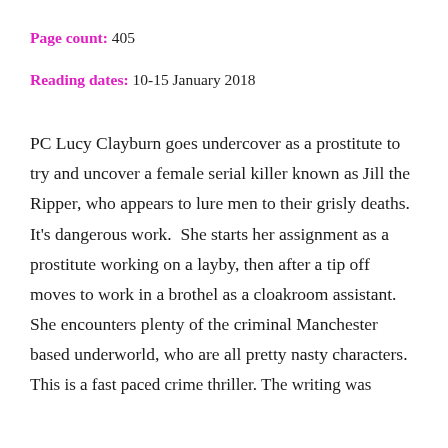Page count: 405
Reading dates: 10-15 January 2018
PC Lucy Clayburn goes undercover as a prostitute to try and uncover a female serial killer known as Jill the Ripper, who appears to lure men to their grisly deaths. It's dangerous work.  She starts her assignment as a prostitute working on a layby, then after a tip off moves to work in a brothel as a cloakroom assistant.  She encounters plenty of the criminal Manchester based underworld, who are all pretty nasty characters.
This is a fast paced crime thriller. The writing was